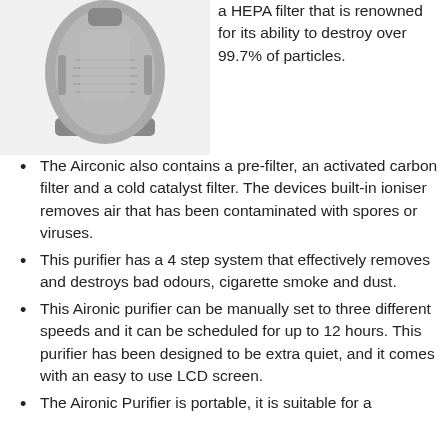[Figure (photo): Photo of a grey Airconic air purifier device, viewed from a slight angle, showing the unit on a stand.]
a HEPA filter that is renowned for its ability to destroy over 99.7% of particles.
The Airconic also contains a pre-filter, an activated carbon filter and a cold catalyst filter. The devices built-in ioniser removes air that has been contaminated with spores or viruses.
This purifier has a 4 step system that effectively removes and destroys bad odours, cigarette smoke and dust.
This Aironic purifier can be manually set to three different speeds and it can be scheduled for up to 12 hours. This purifier has been designed to be extra quiet, and it comes with an easy to use LCD screen.
The Aironic Purifier is portable, it is suitable for a